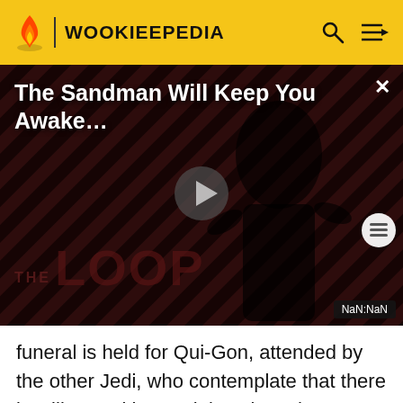WOOKIEEPEDIA
[Figure (screenshot): Video panel with dark red diagonal stripe background showing a figure in black. Title reads 'The Sandman Will Keep You Awake...' with a play button in the center and 'THE LOOP' watermark text. NaN:NaN timestamp shown at bottom right.]
funeral is held for Qui-Gon, attended by the other Jedi, who contemplate that there is still one Sith remaining since there are always two of them. During a celebratory parade on Naboo, Padmé presents a gift of thanks to the Gungans to establish peace.